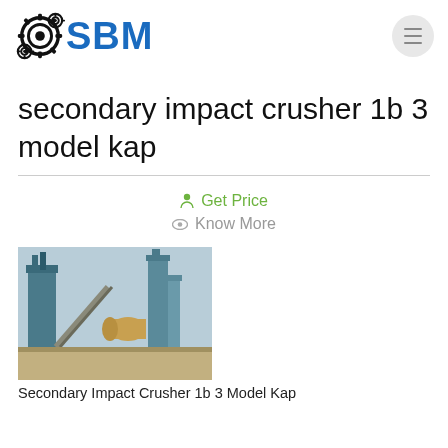[Figure (logo): SBM company logo with gear/sprocket icon in black and 'SBM' text in blue]
secondary impact crusher 1b 3 model kap
Get Price
Know More
[Figure (photo): Industrial secondary impact crusher machinery at a plant site, outdoor photo showing tall industrial equipment and structures]
Secondary Impact Crusher 1b 3 Model Kap